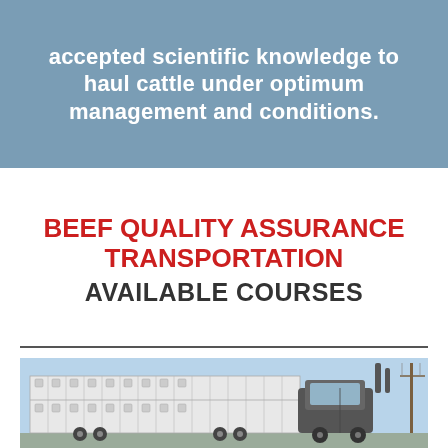accepted scientific knowledge to haul cattle under optimum management and conditions.
BEEF QUALITY ASSURANCE TRANSPORTATION AVAILABLE COURSES
[Figure (photo): A large livestock semi-truck with a white multi-level cattle trailer parked outdoors under a clear blue sky.]